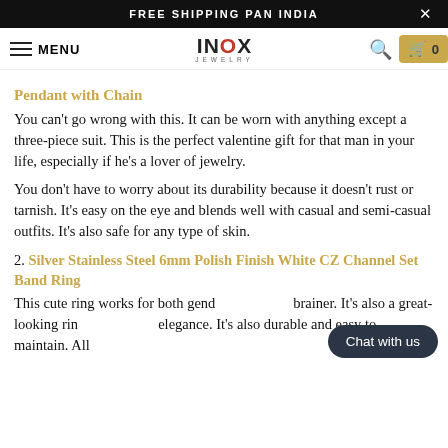FREE SHIPPING PAN INDIA
MENU | INOX JEWELRY | 0
Pendant with Chain
You can't go wrong with this. It can be worn with anything except a three-piece suit. This is the perfect valentine gift for that man in your life, especially if he's a lover of jewelry.
You don't have to worry about its durability because it doesn't rust or tarnish. It's easy on the eye and blends well with casual and semi-casual outfits. It's also safe for any type of skin.
2. Silver Stainless Steel 6mm Polish Finish White CZ Channel Set Band Ring
This cute ring works for both gend brainer. It's also a great-looking rin elegance. It's also durable and easy to maintain. All